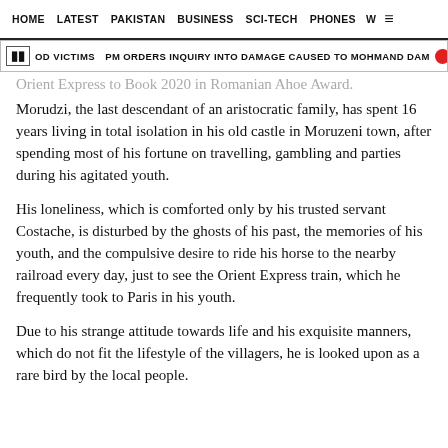HOME   LATEST   PAKISTAN   BUSINESS   SCI-TECH   PHONES   W ☰
|| OD VICTIMS  ● PM ORDERS INQUIRY INTO DAMAGE CAUSED TO MOHMAND DAM ●
Orient Express to Book 2020 in Romanian Ahoe Award. Morudzi, the last descendant of an aristocratic family, has spent 16 years living in total isolation in his old castle in Moruzeni town, after spending most of his fortune on travelling, gambling and parties during his agitated youth.
His loneliness, which is comforted only by his trusted servant Costache, is disturbed by the ghosts of his past, the memories of his youth, and the compulsive desire to ride his horse to the nearby railroad every day, just to see the Orient Express train, which he frequently took to Paris in his youth.
Due to his strange attitude towards life and his exquisite manners, which do not fit the lifestyle of the villagers, he is looked upon as a rare bird by the local people.